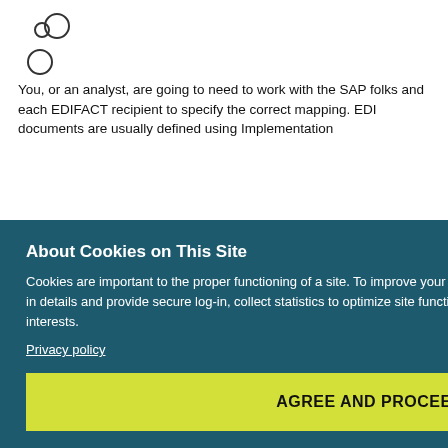[Figure (logo): Abstract circular/bubble logo outline in top left]
You, or an analyst, are going to need to work with the SAP folks and each EDIFACT recipient to specify the correct mapping. EDI documents are usually defined using Implementation
o use
ge type
w or
guides
sed will
Jan 2008
About Cookies on This Site
Cookies are important to the proper functioning of a site. To improve your experience, we use cookies to remember log-in details and provide secure log-in, collect statistics to optimize site functionality, and deliver content tailored to your interests.
Privacy policy
AGREE AND PROCEED
Thanks for the reply... Actually i'm an SAP consultant and i know